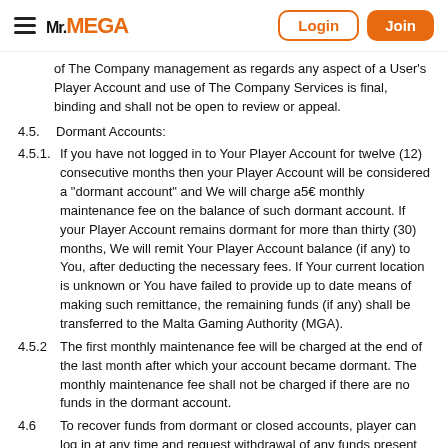Mr.MEGA | Login | Join
of The Company management as regards any aspect of a User's Player Account and use of The Company Services is final, binding and shall not be open to review or appeal.
4.5. Dormant Accounts:
4.5.1. If you have not logged in to Your Player Account for twelve (12) consecutive months then your Player Account will be considered a "dormant account" and We will charge a5€ monthly maintenance fee on the balance of such dormant account. If your Player Account remains dormant for more than thirty (30) months, We will remit Your Player Account balance (if any) to You, after deducting the necessary fees. If Your current location is unknown or You have failed to provide up to date means of making such remittance, the remaining funds (if any) shall be transferred to the Malta Gaming Authority (MGA).
4.5.2 The first monthly maintenance fee will be charged at the end of the last month after which your account became dormant. The monthly maintenance fee shall not be charged if there are no funds in the dormant account.
4.6 To recover funds from dormant or closed accounts, player can log in at any time and request withdrawal of any funds present in the account. Prior closing an account, WE ensure that all funds have been withdrawn. If the account is blocked due to fraud, and the account has a remaining balance, refunds will be issued on